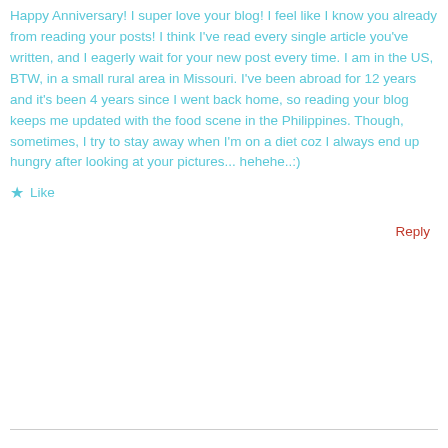Happy Anniversary! I super love your blog! I feel like I know you already from reading your posts! I think I've read every single article you've written, and I eagerly wait for your new post every time. I am in the US, BTW, in a small rural area in Missouri. I've been abroad for 12 years and it's been 4 years since I went back home, so reading your blog keeps me updated with the food scene in the Philippines. Though, sometimes, I try to stay away when I'm on a diet coz I always end up hungry after looking at your pictures... hehehe..:)
Like
Reply